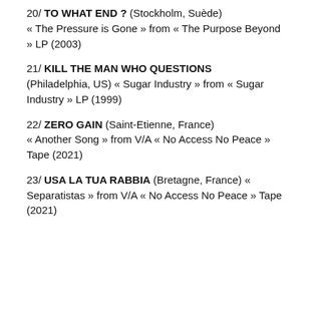20/ TO WHAT END ? (Stockholm, Suède) « The Pressure is Gone » from « The Purpose Beyond » LP (2003)
21/ KILL THE MAN WHO QUESTIONS (Philadelphia, US) « Sugar Industry » from « Sugar Industry » LP (1999)
22/ ZERO GAIN (Saint-Etienne, France) « Another Song » from V/A « No Access No Peace » Tape (2021)
23/ USA LA TUA RABBIA (Bretagne, France) « Separatistas » from V/A « No Access No Peace » Tape (2021)